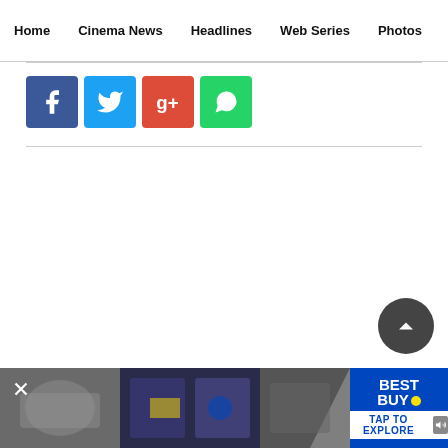Home  Cinema News  Headlines  Web Series  Photos
[Figure (screenshot): Social sharing buttons: Facebook (blue), Twitter (light blue), Google+ (red), WhatsApp (green)]
[Figure (screenshot): Bottom advertisement banner for Best Buy with blurred product images on left, Best Buy logo and 'TAP TO EXPLORE' on right, close button and speaker icon visible]